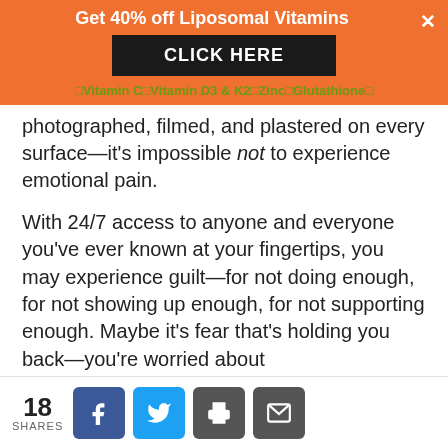[Figure (other): Orange promotional ad banner: 'Get 40% off Liposomal Vitamins' with CLICK HERE button and product links (Vitamin C, Vitamin D3 & K2, Zinc, Glutathione)]
photographed, filmed, and plastered on every surface—it's impossible not to experience emotional pain.
With 24/7 access to anyone and everyone you've ever known at your fingertips, you may experience guilt—for not doing enough, for not showing up enough, for not supporting enough. Maybe it's fear that's holding you back—you're worried about
[Figure (other): Social sharing bar: 18 SHARES, Facebook, Twitter, Print, Email buttons]